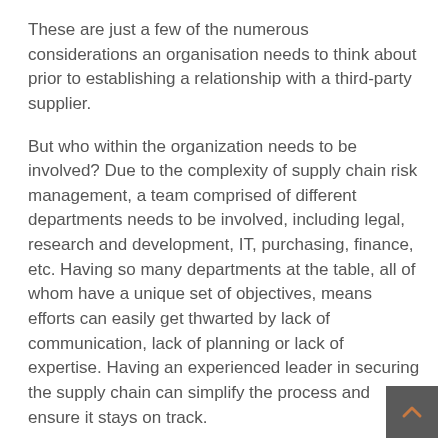These are just a few of the numerous considerations an organisation needs to think about prior to establishing a relationship with a third-party supplier.
But who within the organization needs to be involved? Due to the complexity of supply chain risk management, a team comprised of different departments needs to be involved, including legal, research and development, IT, purchasing, finance, etc. Having so many departments at the table, all of whom have a unique set of objectives, means efforts can easily get thwarted by lack of communication, lack of planning or lack of expertise. Having an experienced leader in securing the supply chain can simplify the process and ensure it stays on track.
There are some universal approaches to managing the risk of the supply chain, backed by best practices. These include: